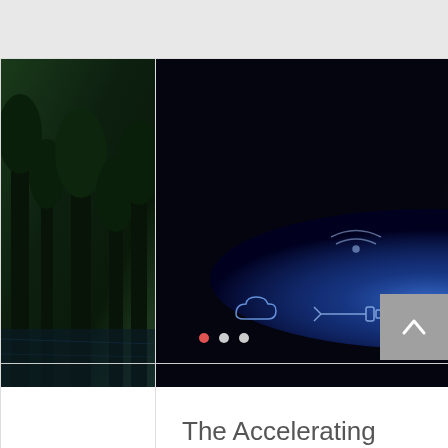[Figure (photo): Partial view of a dark green forest/nature photo on the left card]
[Figure (photo): Touchscreen technology photo showing a finger touching a glowing blue digital interface with various technology icons]
The Accelerating Velocity of Knowledg...
👁 95   💬 0   6 ❤
[Figure (photo): Partial view of a purple/blue abstract light streaks photo on the right card]
● ● ●
[Figure (other): Back-to-top arrow button, grey square with white chevron up arrow]